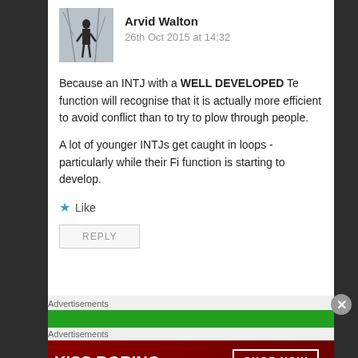[Figure (photo): Avatar photo of a person silhouetted against a window with bare tree branches — black and white image]
Arvid Walton
26th Oct 2015 at 14:32
Because an INTJ with a WELL DEVELOPED Te function will recognise that it is actually more efficient to avoid conflict than to try to plow through people.
A lot of younger INTJs get caught in loops -particularly while their Fi function is starting to develop.
Like
REPLY
Advertisements
[Figure (screenshot): Green advertisement banner (partial)]
Advertisements
[Figure (photo): Macy's advertisement: KISS BORING LIPS GOODBYE with SHOP NOW button and Macy's logo on red background]